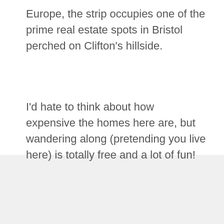Europe, the strip occupies one of the prime real estate spots in Bristol perched on Clifton’s hillside.
I’d hate to think about how expensive the homes here are, but wandering along (pretending you live here) is totally free and a lot of fun!